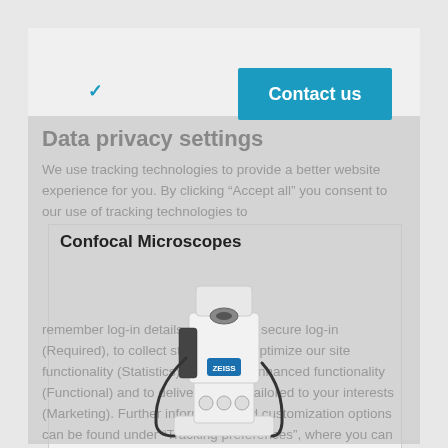Contact us
Data privacy settings
We use tracking technologies to provide a better website experience for you. By clicking "Accept all" you consent to our use of tracking technologies to remember log-in details and provide secure log-in (Required), to collect statistics that optimize our site functionality (Statistics), to provide enhanced functionality (Functional) and to deliver content tailored to your interests (Marketing). Further information and customization options can be found under "Tracking preferences", where you can change your settings. You have the right to revoke your consent at any time.
Confocal Microscopes
[Figure (photo): A ZEISS confocal microscope, white and gray with black cables and blue ZEISS logo, on white background]